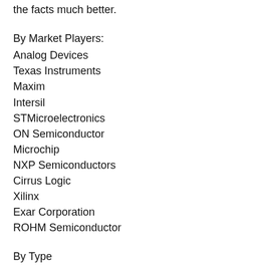the facts much better.
By Market Players:
Analog Devices
Texas Instruments
Maxim
Intersil
STMicroelectronics
ON Semiconductor
Microchip
NXP Semiconductors
Cirrus Logic
Xilinx
Exar Corporation
ROHM Semiconductor
By Type
Pipeline ADC
SAR ADC